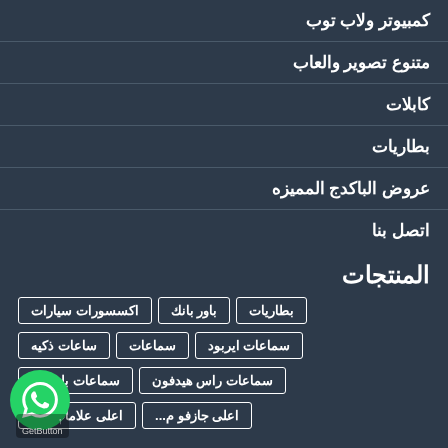كمبيوتر ولاب توب
متنوع تصوير والعاب
كابلات
بطاريات
عروض الباكدج المميزه
اتصل بنا
المنتجات
اكسسورات سيارات
باور بانك
بطاريات
ساعات ذكيه
سماعات
سماعات ايربود
سماعات بلوتوث
سماعات راس هيدفون